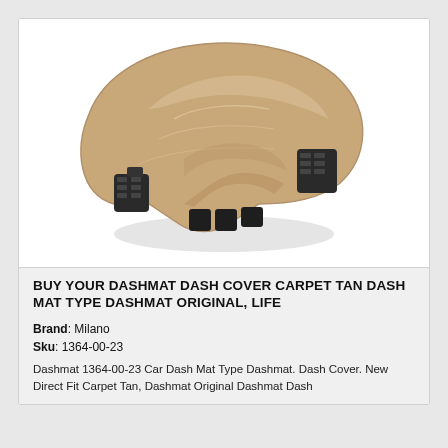[Figure (photo): Tan/beige carpet dashmat dash cover product photo on white background, showing the curved dashboard mat with black plastic clips/vents]
BUY YOUR DASHMAT DASH COVER CARPET TAN DASH MAT TYPE DASHMAT ORIGINAL, LIFE
Brand: Milano
Sku: 1364-00-23
Dashmat 1364-00-23 Car Dash Mat Type Dashmat. Dash Cover. New Direct Fit Carpet Tan, Dashmat Original Dashmat Dash